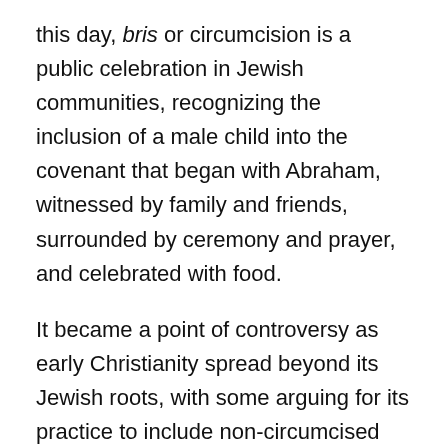this day, bris or circumcision is a public celebration in Jewish communities, recognizing the inclusion of a male child into the covenant that began with Abraham, witnessed by family and friends, surrounded by ceremony and prayer, and celebrated with food.
It became a point of controversy as early Christianity spread beyond its Jewish roots, with some arguing for its practice to include non-circumcised Gentile men in the community of believers. Others, notably the Apostle Paul argued against this, that identifying with Christ by faith and in baptism was sufficient for